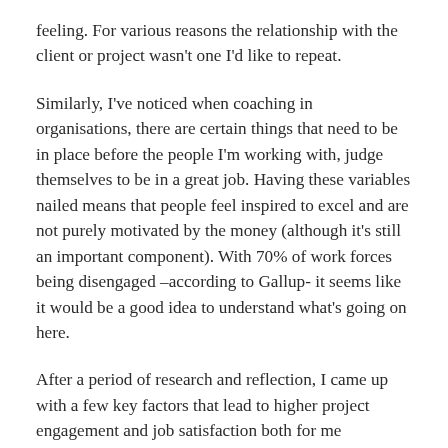feeling. For various reasons the relationship with the client or project wasn't one I'd like to repeat.
Similarly, I've noticed when coaching in organisations, there are certain things that need to be in place before the people I'm working with, judge themselves to be in a great job. Having these variables nailed means that people feel inspired to excel and are not purely motivated by the money (although it's still an important component). With 70% of work forces being disengaged –according to Gallup- it seems like it would be a good idea to understand what's going on here.
After a period of research and reflection, I came up with a few key factors that lead to higher project engagement and job satisfaction both for me personally and in the teams I'm working with. When these factors are understood and the conditions created to make these factors accessible, I believe leaders will see a rise in